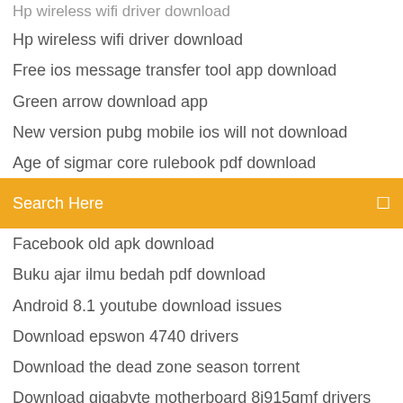Hp wireless wifi driver download
Free ios message transfer tool app download
Green arrow download app
New version pubg mobile ios will not download
Age of sigmar core rulebook pdf download
Download free drivers for lexmark s405
Search Here
Facebook old apk download
Buku ajar ilmu bedah pdf download
Android 8.1 youtube download issues
Download epswon 4740 drivers
Download the dead zone season torrent
Download gigabyte motherboard 8i915gmf drivers
Phonegap ios add app using download
Corporate finance jonathan berk pdf 4th edition download
Stream table download pdf
Max download speed ps4